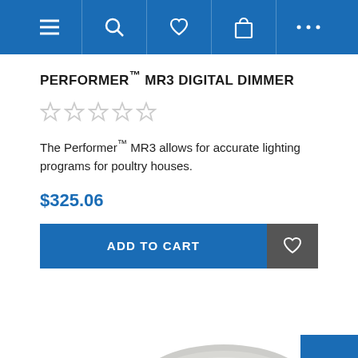Navigation bar with menu, search, wishlist, cart, and more icons
PERFORMER™ MR3 DIGITAL DIMMER
[Figure (other): Five empty star rating icons (no stars filled)]
The Performer™ MR3 allows for accurate lighting programs for poultry houses.
$325.06
[Figure (other): Add to Cart button (blue) with wishlist heart icon (dark grey) to the right]
[Figure (photo): Partial view of the Performer MR3 Digital Dimmer product, showing a silvery metallic oval/disc shaped device against white background]
[Figure (other): Back to top button (blue square with upward chevron arrow) in bottom right corner]